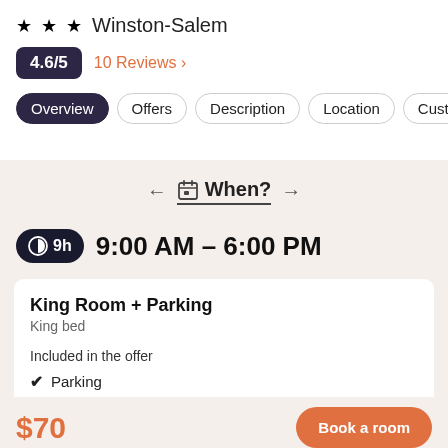★ ★ ★  Winston-Salem
4.6/5  10 Reviews
Overview  Offers  Description  Location  Customer
← 📅 When? →
🕐 9h  9:00 AM - 6:00 PM
King Room + Parking
King bed
Included in the offer
✓  Parking
$70  Book a room